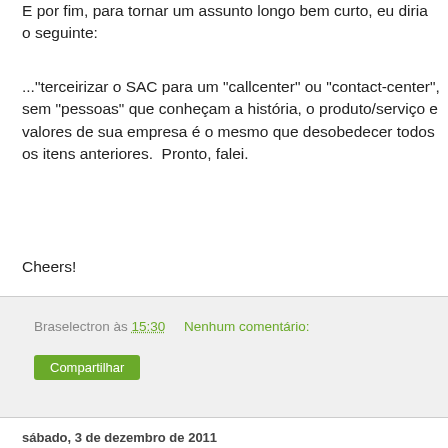E por fim, para tornar um assunto longo bem curto, eu diria o seguinte:
..."terceirizar o SAC para um "callcenter" ou "contact-center", sem "pessoas" que conheçam a história, o produto/serviço e valores de sua empresa é o mesmo que desobedecer todos os itens anteriores.  Pronto, falei.
Cheers!
Braselectron às 15:30    Nenhum comentário:
Compartilhar
sábado, 3 de dezembro de 2011
How to boot Linux with Windows XP bootloader
REF: http://bkpavan.wordpress.com/2008/04/02/how-to-boot-linux-using-windows-bootloader-xp/